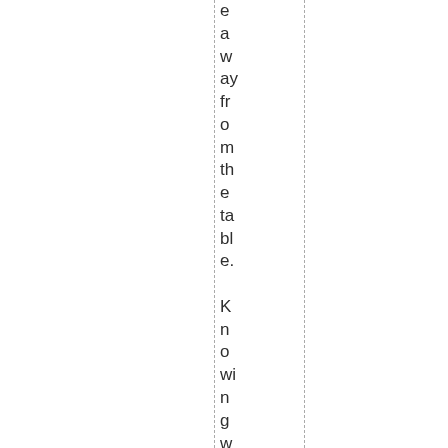e a w ay fr o m th e ta bl e. K n o wi n g w h er e a n d at w h at ti
Knowing where and at what ti...